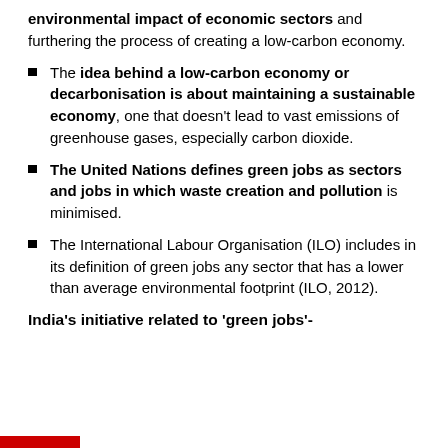environmental impact of economic sectors and furthering the process of creating a low-carbon economy.
The idea behind a low-carbon economy or decarbonisation is about maintaining a sustainable economy, one that doesn't lead to vast emissions of greenhouse gases, especially carbon dioxide.
The United Nations defines green jobs as sectors and jobs in which waste creation and pollution is minimised.
The International Labour Organisation (ILO) includes in its definition of green jobs any sector that has a lower than average environmental footprint (ILO, 2012).
India's initiative related to 'green jobs'-